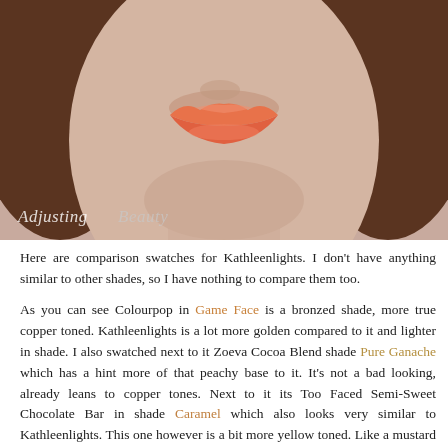[Figure (photo): Close-up photo of a woman's lower face showing peach/coral lipstick, with brown hair visible and watermark text 'AdjustingBeauty' in bottom left corner.]
Here are comparison swatches for Kathleenlights. I don't have anything similar to other shades, so I have nothing to compare them too.
As you can see Colourpop in Game Face is a bronzed shade, more true copper toned. Kathleenlights is a lot more golden compared to it and lighter in shade. I also swatched next to it Zoeva Cocoa Blend shade Pure Ganache which has a hint more of that peachy base to it. It's not a bad looking, already leans to copper tones. Next to it its Too Faced Semi-Sweet Chocolate Bar in shade Caramel which also looks very similar to Kathleenlights. This one however is a bit more yellow toned. Like a mustard yellow and is not